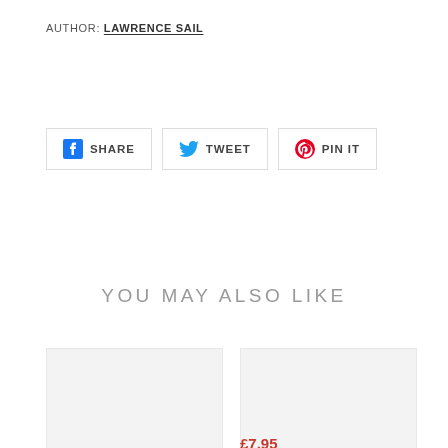AUTHOR: LAWRENCE SAIL
[Figure (other): Social share buttons: Facebook SHARE, Twitter TWEET, Pinterest PIN IT]
YOU MAY ALSO LIKE
[Figure (other): Product image placeholder (left, no label/price visible)]
[Figure (other): Product image placeholder (right) for The Egg of Zero]
The Egg of Zero
£7.95